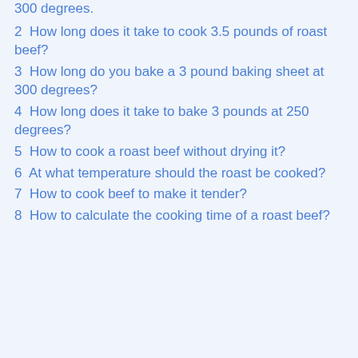300 degrees.
2  How long does it take to cook 3.5 pounds of roast beef?
3  How long do you bake a 3 pound baking sheet at 300 degrees?
4  How long does it take to bake 3 pounds at 250 degrees?
5  How to cook a roast beef without drying it?
6  At what temperature should the roast be cooked?
7  How to cook beef to make it tender?
8  How to calculate the cooking time of a roast beef?